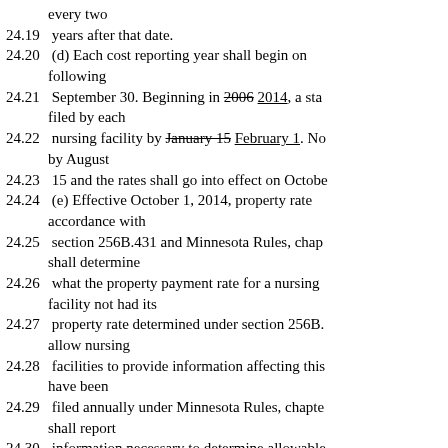every two
24.19    years after that date.
24.20        (d) Each cost reporting year shall begin on following
24.21    September 30. Beginning in 2006 2014, a sta filed by each
24.22    nursing facility by January 15 February 1. No by August
24.23    15 and the rates shall go into effect on Octobe
24.24        (e) Effective October 1, 2014, property rate accordance with
24.25    section 256B.431 and Minnesota Rules, chap shall determine
24.26    what the property payment rate for a nursing facility not had its
24.27    property rate determined under section 256B. allow nursing
24.28    facilities to provide information affecting this have been
24.29    filed annually under Minnesota Rules, chapte shall report
24.30    information necessary to determine allowable use this